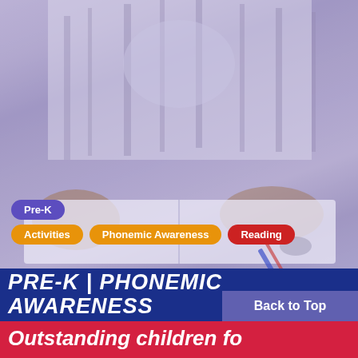[Figure (photo): Child reading a book, viewed from above with hands on open pages, with a purple/lavender overlay tint]
Pre-K
Activities
Phonemic Awareness
Reading
PRE-K | PHONEMIC AWARENESS
Back to Top
Outstanding children fo